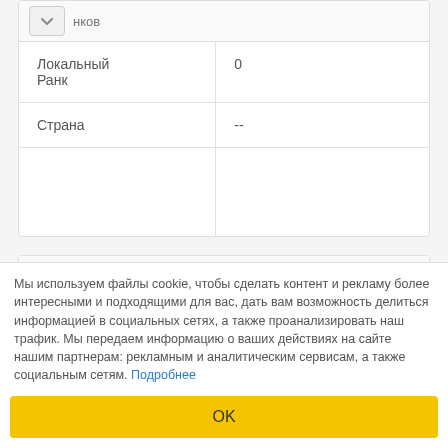|  |  |
| --- | --- |
| Локальный Ранк | 0 |
| Страна | -- |
Статистика Антивирусов
[Figure (logo): Google logo icon (colored squares G)]
[Figure (logo): Green antivirus check/shield icon]
Мы используем файлы cookie, чтобы сделать контент и рекламу более интересными и подходящими для вас, дать вам возможность делиться информацией в социальных сетях, а также проанализировать наш трафик. Мы передаем информацию о ваших действиях на сайте нашим партнерам: рекламным и аналитическим сервисам, а также социальным сетям. Подробнее
OK